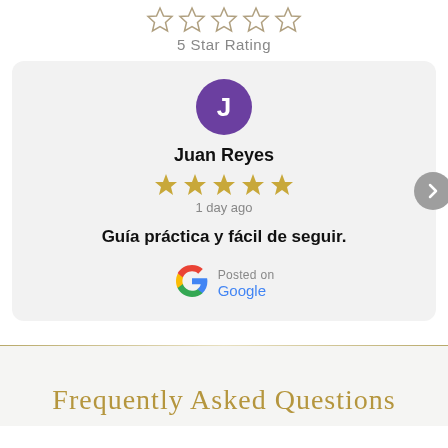5 Star Rating
Juan Reyes
1 day ago
Guía práctica y fácil de seguir.
Posted on
Google
Frequently Asked Questions